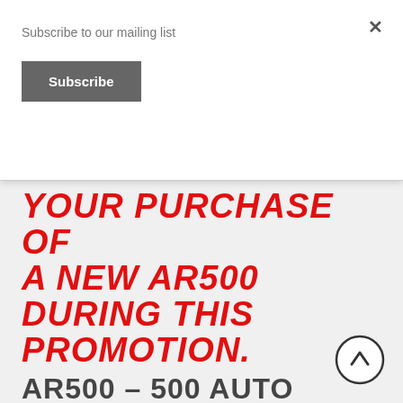Subscribe to our mailing list
Subscribe
YOUR PURCHASE OF A NEW AR500 DURING THIS PROMOTION.
AR500 – 500 AUTO MAX RIFLE
The AR500 is an AR rifle like no other. Chambered in 500 Auto Max, our ground-breaking AR500 Rifle is the most powerful AR firearm available.  We were not content